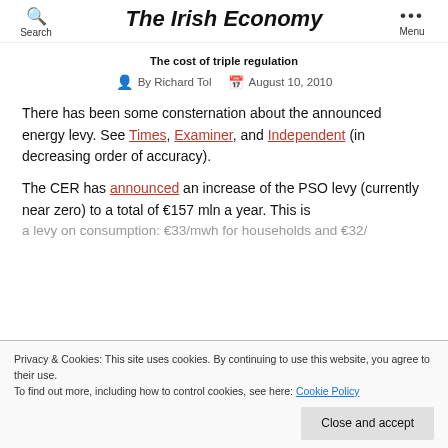The Irish Economy | Search | Menu
The cost of triple regulation
By Richard Tol  August 10, 2010
There has been some consternation about the announced energy levy. See Times, Examiner, and Independent (in decreasing order of accuracy).
The CER has announced an increase of the PSO levy (currently near zero) to a total of €157 mln a year. This is a levy on consumption: €33/mwh for households and €32/...
Privacy & Cookies: This site uses cookies. By continuing to use this website, you agree to their use. To find out more, including how to control cookies, see here: Cookie Policy
country (sorry) (in the sense of bruising their bills), but that is only €14 of the €157 a day...